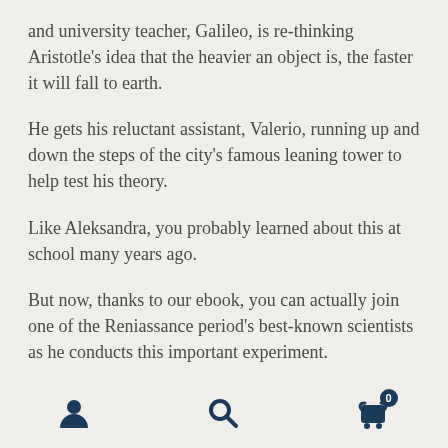and university teacher, Galileo, is re-thinking Aristotle's idea that the heavier an object is, the faster it will fall to earth.
He gets his reluctant assistant, Valerio, running up and down the steps of the city's famous leaning tower to help test his theory.
Like Aleksandra, you probably learned about this at school many years ago.
But now, thanks to our ebook, you can actually join one of the Reniassance period's best-known scientists as he conducts this important experiment.
[navigation icons: user, search, cart(0)]